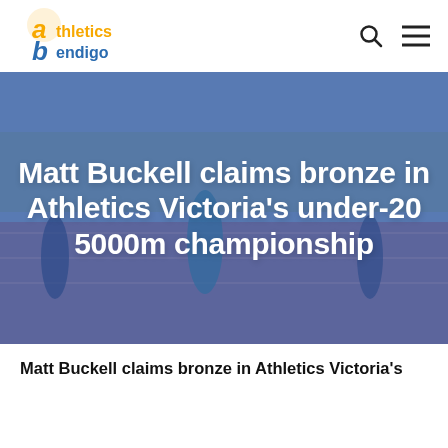[Figure (logo): Athletics Bendigo logo — stylized 'a' in orange and 'b' in blue with text 'athletics bendigo']
[Figure (photo): Athletes running on a track, with a blue overlay. Multiple runners in athletic gear mid-race on an outdoor athletics track.]
Matt Buckell claims bronze in Athletics Victoria's under-20 5000m championship
Matt Buckell claims bronze in Athletics Victoria's